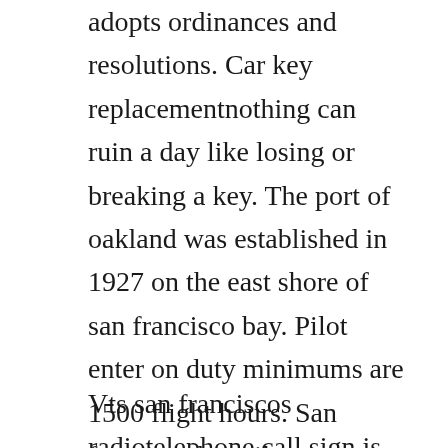adopts ordinances and resolutions. Car key replacementnothing can ruin a day like losing or breaking a key. The port of oakland was established in 1927 on the east shore of san francisco bay. Pilot enter on duty minimums are 1500 flight hours. San francisco bar pilots questioned over fees the new york times. Different world onboard yacht for san francisco bar pilot the triton. Sixty pilots serve the bay, and their work schedule is similar to the united.
Vts san franciscos radiotelephone call sign is san francisco traffic. Cma cgm norma cargo